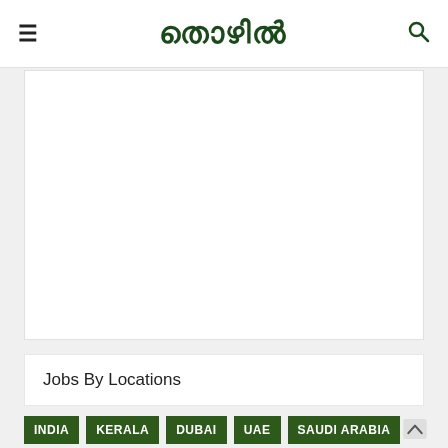≡  തൊഴിൽ  🔍
[Figure (other): White advertisement banner area (blank)]
Jobs By Locations
INDIA
KERALA
DUBAI
UAE
SAUDI ARABIA